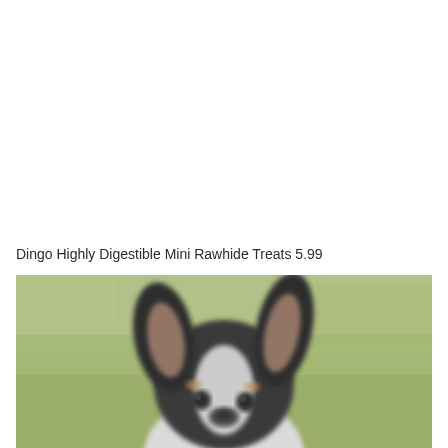Dingo Highly Digestible Mini Rawhide Treats 5.99
[Figure (photo): Close-up photo of a small black and white Chihuahua dog with large ears, sitting on green grass. The image is slightly blurred/soft focused.]